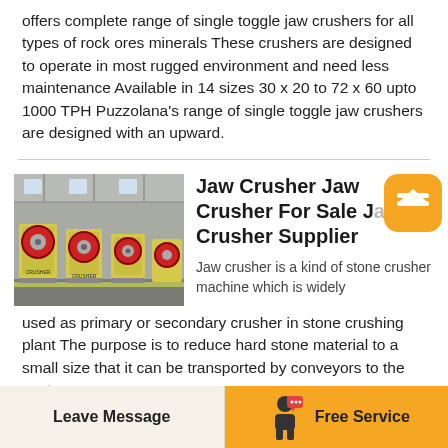offers complete range of single toggle jaw crushers for all types of rock ores minerals These crushers are designed to operate in most rugged environment and need less maintenance Available in 14 sizes 30 x 20 to 72 x 60 upto 1000 TPH Puzzolana's range of single toggle jaw crushers are designed with an upward.
[Figure (photo): Photo of multiple yellow and black jaw crusher machines lined up in an industrial warehouse/factory setting.]
Jaw Crusher Jaw Crusher For Sale Jaw Crusher Supplier
Jaw crusher is a kind of stone crusher machine which is widely used as primary or secondary crusher in stone crushing plant The purpose is to reduce hard stone material to a small size that it can be transported by conveyors to the next
Leave Message | Free Service